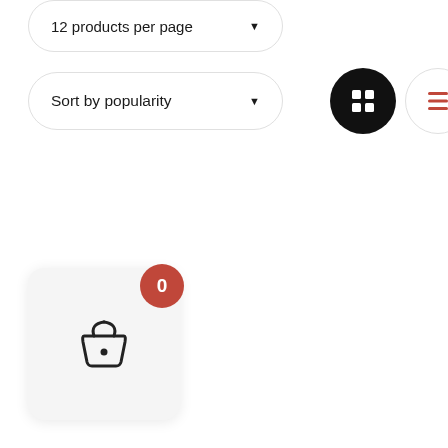[Figure (screenshot): Dropdown selector showing '12 products per page' with a downward arrow, rounded pill button style]
[Figure (screenshot): Dropdown selector showing 'Sort by popularity' with a downward arrow, rounded pill button style]
[Figure (screenshot): Grid view icon button (dark/black circle with a 2x2 grid icon)]
[Figure (screenshot): List view icon button (light/white circle with horizontal lines icon in red)]
[Figure (screenshot): Shopping cart widget at bottom left: light gray rounded square card with a shopping basket icon and a red badge showing '0']